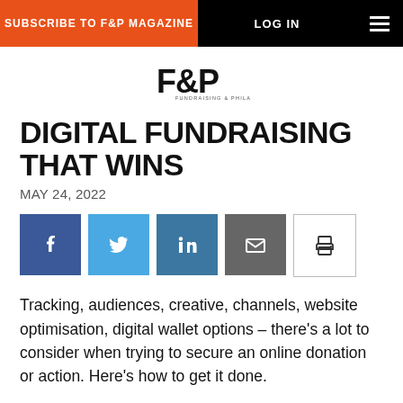SUBSCRIBE TO F&P MAGAZINE | LOG IN
[Figure (logo): F&P Fundraising & Philanthropy magazine logo]
DIGITAL FUNDRAISING THAT WINS
MAY 24, 2022
[Figure (infographic): Social share buttons: Facebook, Twitter, LinkedIn, Email, Print]
Tracking, audiences, creative, channels, website optimisation, digital wallet options – there's a lot to consider when trying to secure an online donation or action. Here's how to get it done.